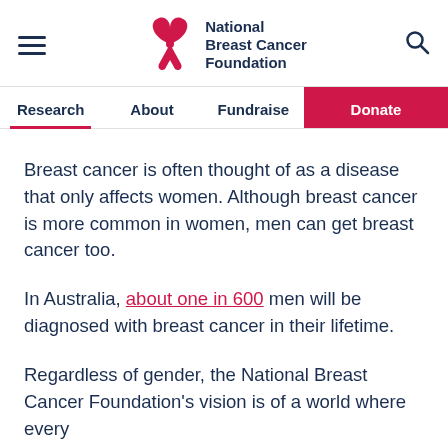National Breast Cancer Foundation
Breast cancer is often thought of as a disease that only affects women. Although breast cancer is more common in women, men can get breast cancer too.
In Australia, about one in 600 men will be diagnosed with breast cancer in their lifetime.
Regardless of gender, the National Breast Cancer Foundation's vision is of a world where every...